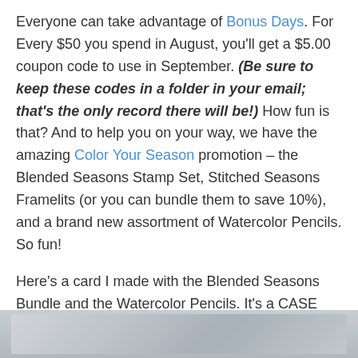Everyone can take advantage of Bonus Days. For Every $50 you spend in August, you'll get a $5.00 coupon code to use in September. (Be sure to keep these codes in a folder in your email; that's the only record there will be!) How fun is that? And to help you on your way, we have the amazing Color Your Season promotion – the Blended Seasons Stamp Set, Stitched Seasons Framelits (or you can bundle them to save 10%), and a brand new assortment of Watercolor Pencils. So fun!
Here's a card I made with the Blended Seasons Bundle and the Watercolor Pencils. It's a CASE (Copy and Share Everything) from a card the Stampin' Up! Concept Artists designed, but I changed it a little. I loved everything about the original – the layout, the colors, everything!
[Figure (photo): Bottom strip of a photo showing a grey/silver background, partially visible at the bottom of the page]